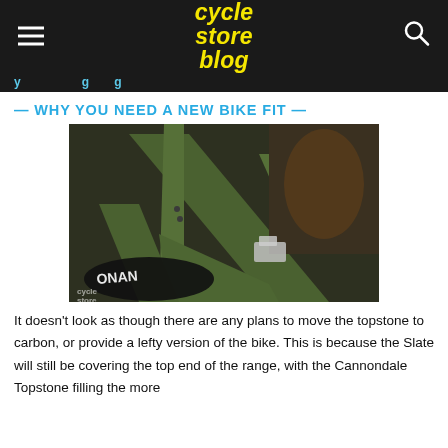cycle store blog
y ... g ...
— WHY YOU NEED A NEW BIKE FIT —
[Figure (photo): Close-up photo of a green Cannondale bicycle frame showing the seat tube, tire, and components. A 'cycle store' watermark is visible in the lower left.]
It doesn't look as though there are any plans to move the topstone to carbon, or provide a lefty version of the bike. This is because the Slate will still be covering the top end of the range, with the Cannondale Topstone filling the more